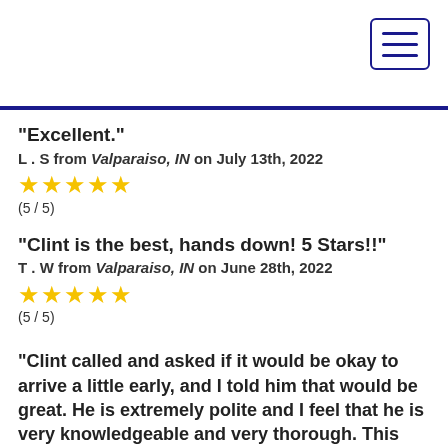"Excellent."
L . S from Valparaiso, IN on July 13th, 2022
★★★★★
(5 / 5)
"Clint is the best, hands down! 5 Stars!!"
T . W from Valparaiso, IN on June 28th, 2022
★★★★★
(5 / 5)
"Clint called and asked if it would be okay to arrive a little early, and I told him that would be great. He is extremely polite and I feel that he is very knowledgeable and very thorough. This company never lets me down and I go out of my way to recommend them to my friends and...